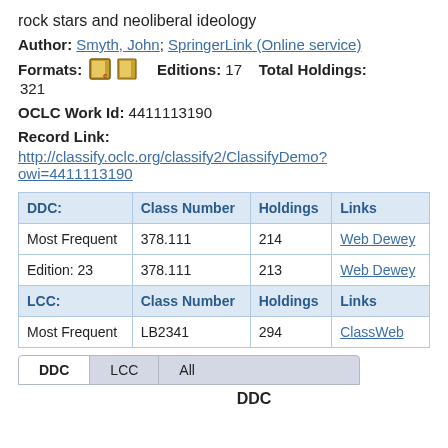rock stars and neoliberal ideology
Author: Smyth, John; SpringerLink (Online service)
Formats: [icons] Editions: 17 Total Holdings: 321
OCLC Work Id: 4411113190
Record Link:
http://classify.oclc.org/classify2/ClassifyDemo?owi=4411113190
| DDC: | Class Number | Holdings | Links |
| --- | --- | --- | --- |
| Most Frequent | 378.111 | 214 | Web Dewey |
| Edition: 23 | 378.111 | 213 | Web Dewey |
| LCC: | Class Number | Holdings | Links |
| Most Frequent | LB2341 | 294 | ClassWeb |
DDC  LCC  All
DDC